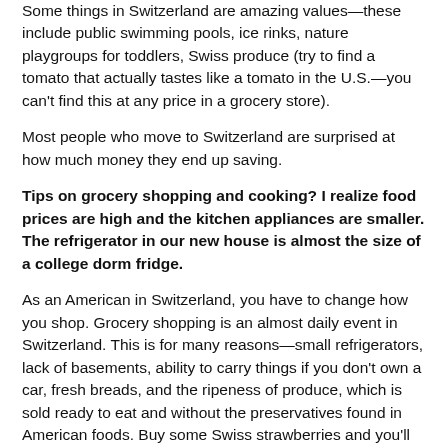Some things in Switzerland are amazing values—these include public swimming pools, ice rinks, nature playgroups for toddlers, Swiss produce (try to find a tomato that actually tastes like a tomato in the U.S.—you can't find this at any price in a grocery store).
Most people who move to Switzerland are surprised at how much money they end up saving.
Tips on grocery shopping and cooking? I realize food prices are high and the kitchen appliances are smaller. The refrigerator in our new house is almost the size of a college dorm fridge.
As an American in Switzerland, you have to change how you shop. Grocery shopping is an almost daily event in Switzerland. This is for many reasons—small refrigerators, lack of basements, ability to carry things if you don't own a car, fresh breads, and the ripeness of produce, which is sold ready to eat and without the preservatives found in American foods. Buy some Swiss strawberries and you'll be lucky if